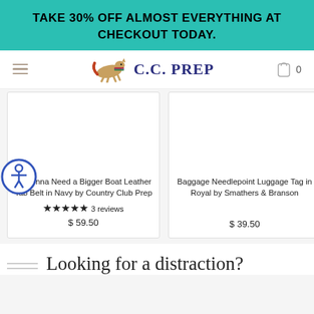TAKE 30% OFF ALMOST EVERYTHING AT CHECKOUT TODAY.
[Figure (logo): C.C. PREP logo with running fox/dog in plaid colors]
[Figure (photo): Product image placeholder for Gonna Need a Bigger Boat Leather Tab Belt in Navy by Country Club Prep]
re Gonna Need a Bigger Boat Leather Tab Belt in Navy by Country Club Prep
★★★★★ 3 reviews
$ 59.50
[Figure (photo): Product image placeholder for Baggage Needlepoint Luggage Tag in Royal by Smathers & Branson]
Baggage Needlepoint Luggage Tag in Royal by Smathers & Branson
$ 39.50
Looking for a distraction?